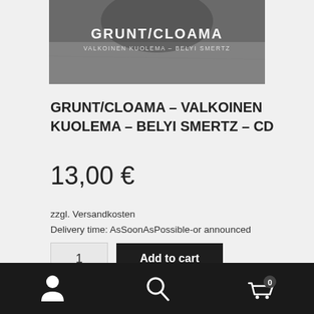[Figure (photo): Product image showing GRUNT/CLOAMA album cover in black and white with stylized text]
GRUNT/CLOAMA – VALKOINEN KUOLEMA – BELYI SMERTZ – CD
13,00 €
zzgl. Versandkosten
Delivery time: AsSoonAsPossible-or announced
1
Add to cart